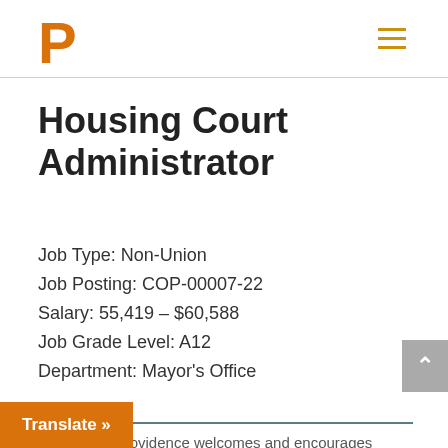P (City of Providence logo) | hamburger menu
Housing Court Administrator
Job Type: Non-Union
Job Posting: COP-00007-22
Salary: 55,419 – $60,588
Job Grade Level: A12
Department: Mayor's Office
The City of Providence welcomes and encourages a diverse workforce at all levels of the